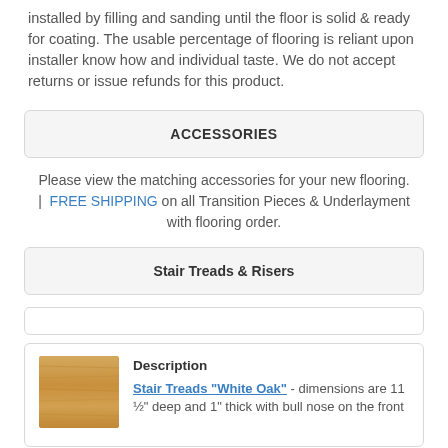installed by filling and sanding until the floor is solid & ready for coating. The usable percentage of flooring is reliant upon installer know how and individual taste. We do not accept returns or issue refunds for this product.
ACCESSORIES
Please view the matching accessories for your new flooring. | FREE SHIPPING on all Transition Pieces & Underlayment with flooring order.
Stair Treads & Risers
[Figure (other): Empty input/search box]
[Figure (photo): Wood stair tread product image showing white oak wood grain texture]
Description Stair Treads "White Oak" - dimensions are 11 ½" deep and 1" thick with bull nose on the front